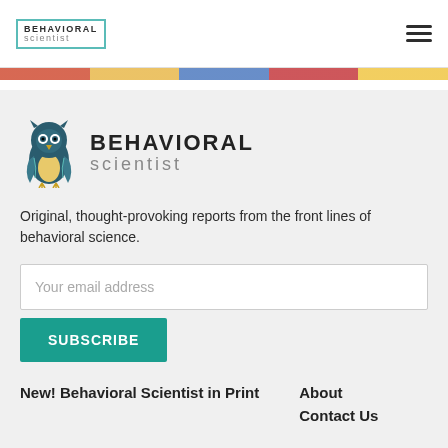BEHAVIORAL scientist
[Figure (illustration): Colorful strip image at top of footer area]
[Figure (logo): Behavioral Scientist owl logo with text BEHAVIORAL scientist]
Original, thought-provoking reports from the front lines of behavioral science.
Your email address
SUBSCRIBE
New! Behavioral Scientist in Print
About
Contact Us